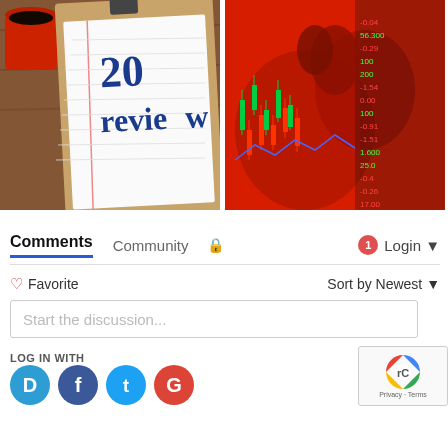[Figure (photo): Photo of a coffee cup and clipboard with notepad showing '201 review' text in blue serif font, on a wooden table]
[Figure (photo): Stock market trading data display with red/green candlestick chart, a Chinese dragon silhouette overlay, and numbers/prices against a red background]
Comments   Community   🔒   1   Login ▾
♡ Favorite   Sort by Newest ▾
Start the discussion...
LOG IN WITH